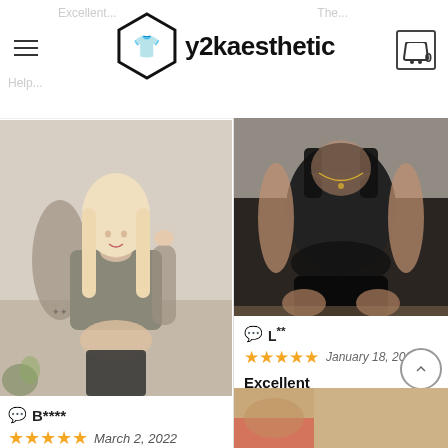y2kaesthetic — website header with logo, hamburger menu, and cart icon
[Figure (photo): Photo of a blonde woman wearing a gray crop top and arm sleeves, with tattoos visible]
B**** ★★★★★ March 2, 2022
[Figure (photo): Photo of a woman wearing a black lingerie corset top and shorts, seated on a bed]
L** ★★★★★ January 18, 2022
Excellent
so cute! wish the boob cups were slightly bigger though since it indents at a weird place on my chest
Helpful? 1 👍 👎 0
[Figure (photo): Partial photo visible at bottom right corner]